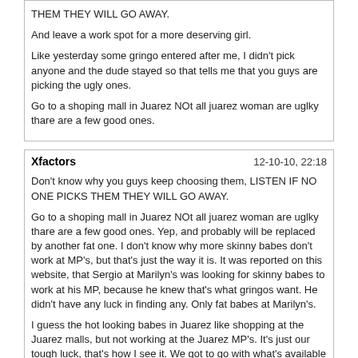THEM THEY WILL GO AWAY.

And leave a work spot for a more deserving girl.

Like yesterday some gringo entered after me, I didn't pick anyone and the dude stayed so that tells me that you guys are picking the ugly ones.

Go to a shoping mall in Juarez NOt all juarez woman are uglky thare are a few good ones.
Xfactors    12-10-10, 22:18
Don't know why you guys keep choosing them, LISTEN IF NO ONE PICKS THEM THEY WILL GO AWAY.

Go to a shoping mall in Juarez NOt all juarez woman are uglky thare are a few good ones. Yep, and probably will be replaced by another fat one. I don't know why more skinny babes don't work at MP's, but that's just the way it is. It was reported on this website, that Sergio at Marilyn's was looking for skinny babes to work at his MP, because he knew that's what gringos want. He didn't have any luck in finding any. Only fat babes at Marilyn's.

I guess the hot looking babes in Juarez like shopping at the Juarez malls, but not working at the Juarez MP's. It's just our tough luck, that's how I see it. We got to go with what's available at the MP's. It's take it, or leave it. There are a few good looking babes at the MP's. Not many, though.
Jrzmong    12-12-10, 19:20
First the good news I just read a reply by the Foxy Manager and tells me that Brianna is still available but she wanted her pictures gone from the foxy Juarez so great news the best-looking escort in town is still available.

The bad news Placeres Club the one near Plaza Juarez was torched some days ago, what would you do if all the MPs and clubs where torched down by extortionists.